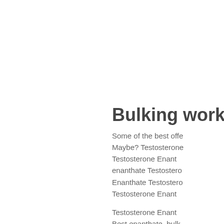Bulking work
Some of the best offe Maybe? Testosterone Testosterone Enanthate enanthate Testosterone Enanthate Testosterone Testosterone Enanthate
Testosterone Enanthate Best enanthate, bulk Estratetraenol, bulkin